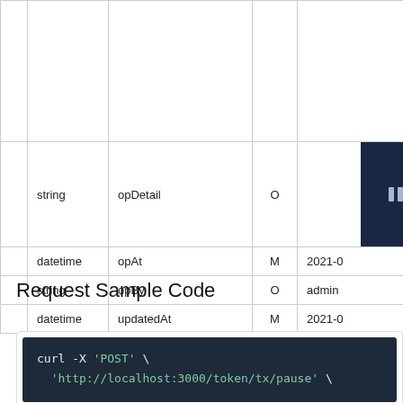| type | name | M/O | example |
| --- | --- | --- | --- |
|  |  |  |  |
| string | opDetail | O |  |
| datetime | opAt | M | 2021-0 |
| string | opBy | O | admin |
| datetime | updatedAt | M | 2021-0 |
Request Sample Code
[Figure (screenshot): Code block showing curl -X 'POST' \ 'http://localhost:3000/token/tx/pause' \]